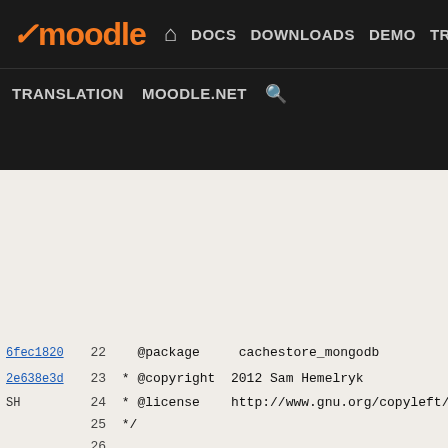Moodle | DOCS | DOWNLOADS | DEMO | TRACKER | DEV | TRANSLATION | MOODLE.NET
[Figure (screenshot): Moodle developer site navigation bar with logo and menu links including DOCS, DOWNLOADS, DEMO, TRACKER, DEV (highlighted), TRANSLATION, MOODLE.NET, and search icon]
Code viewer showing PHP source file lines 22-47 with blame annotations (commit hashes 6fec1820, 2e638e3d, author SH). Lines include @package cachestore_mongodb, @copyright 2012 Sam Hemelryk, @license URL, defined('MOODLE_INTERNAL') || die();, /** The MongoDB Cache store. */ docblock, class cachestore_mongodb implements cache_st..., /** The name of the store @var string */ protected $name;